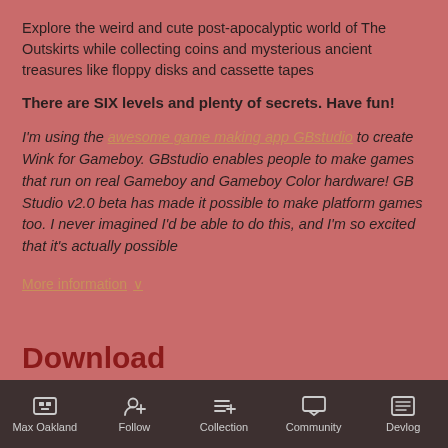Explore the weird and cute post-apocalyptic world of The Outskirts while collecting coins and mysterious ancient treasures like floppy disks and cassette tapes
There are SIX levels and plenty of secrets. Have fun!
I'm using the awesome game making app GBstudio to create Wink for Gameboy. GBstudio enables people to make games that run on real Gameboy and Gameboy Color hardware! GB Studio v2.0 beta has made it possible to make platform games too. I never imagined I'd be able to do this, and I'm so excited that it's actually possible
More information ∨
Download
Max Oakland | Follow | Collection | Community | Devlog